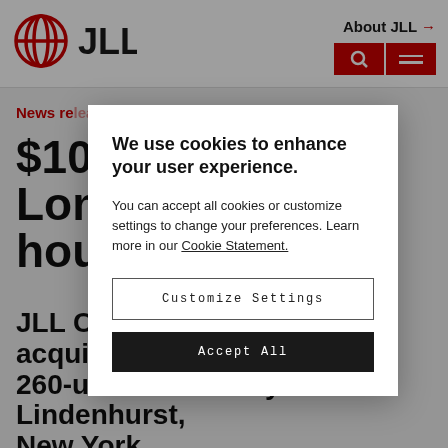[Figure (logo): JLL logo with circular globe icon and JLL wordmark in black]
About JLL →
News release
$10... for London...housing...
JLL Capital... the acquisition...el, a 260-unit community in Lindenhurst, New York
April 27, 2022
We use cookies to enhance your user experience.
You can accept all cookies or customize settings to change your preferences. Learn more in our Cookie Statement.
Customize Settings
Accept All